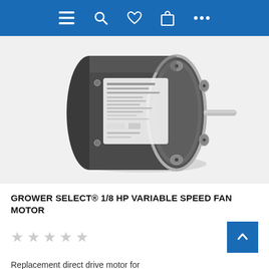Navigation bar with menu, search, wishlist, cart, and more icons
[Figure (photo): Product photo of a Grower Select 1/8 HP variable speed fan motor — a dark grey cylindrical electric motor with a silver shaft protruding from the right end and a white specification label on the body.]
GROWER SELECT® 1/8 HP VARIABLE SPEED FAN MOTOR
★★★★★ (empty star rating)
Replacement direct drive motor for Aerotech®/Munters® VX 14" variable speed fan.